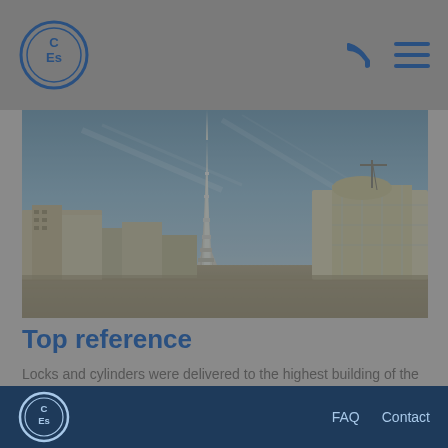CES logo, phone icon, menu icon
[Figure (photo): Photo of the Burj Khalifa skyscraper in Dubai, surrounded by lower buildings and mall structures, shot from a low angle against a cloudy sky.]
Top reference
Locks and cylinders were delivered to the highest building of the world, the Burj Khalifa in Dubai.
CES logo, FAQ, Contact